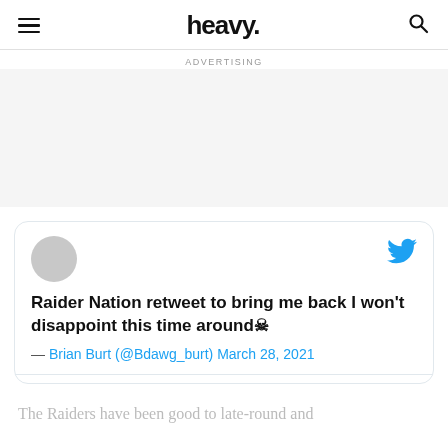heavy.
ADVERTISING
[Figure (screenshot): Embedded tweet card from Brian Burt (@Bdawg_burt) dated March 28, 2021, reading: 'Raider Nation retweet to bring me back I won't disappoint this time around ☠']
The Raiders have been good to late-round and